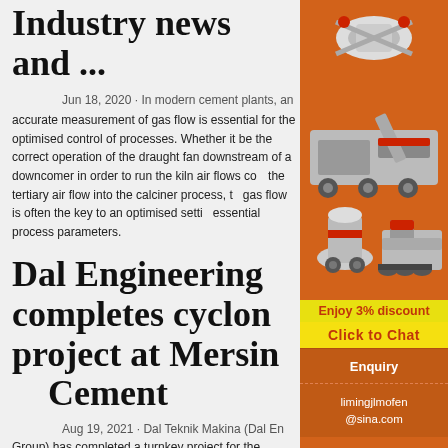Industry news and ...
Jun 18, 2020 · In modern cement plants, an accurate measurement of gas flow is essential for the optimised control of processes. Whether it be the correct operation of the draught fan downstream of a downcomer in order to run the kiln air flows correctly, the tertiary air flow into the calciner process, the gas flow is often the key to an optimised setting of essential process parameters.
Dal Engineering completes cyclone project at Mersin Cement
Aug 19, 2021 · Dal Teknik Makina (Dal Engineering Group) has completed a turnkey project for the
[Figure (photo): Orange advertisement sidebar showing industrial machinery (crushers, mills) with text: Enjoy 3% discount, Click to Chat, Enquiry, limingjlmofen@sina.com]